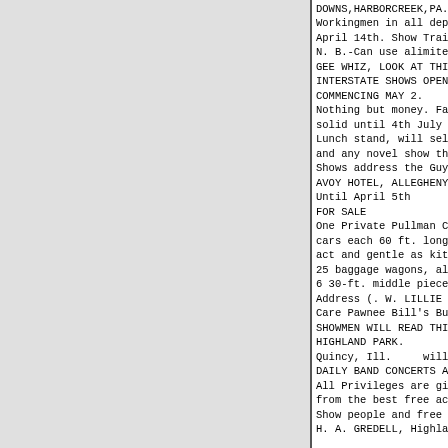DOWNS,HARBORCREEK,PA.
Workingmen in all departments repor
April 14th. Show Train leaves Harbo
N. B.-Can use alimited number of fi
GEE WHIZ, LOOK AT THIS:
INTERSTATE SHOWS OPEN, 8 BIG DAYS,
COMMENCING MAY 2.
Nothing but money. Factories have w
solid until 4th July week. Write fo
Lunch stand, will sell. exclusive;
and any novel show that don'tconfli
Shows address the Guy that has neve
AVOY HOTEL, ALLEGHENY,PA.,
Until April 5th
FOR SALE
One Private Pullman Car, 6-wheel tr
cars each 60 ft. long; 9 flat cars
act and gentle as kittens; 8 Siberi
25 baggage wagons, all lengths and
6 30-ft. middle pieces; 1 60-ft R.
Address (. W. LILLIE (PAWNEE BILL)
Care Pawnee Bill's Buffalo Ranch, P
SHOWMEN WILL READ THIS.
HIGHLAND PARK.
Quincy, Ill.    will open with a
DAILY BAND CONCERTS AND FREE ACTS.
All Privileges are given Free of Ch
from the best free acts. Wisest sho
Show people and free acts address J
H. A. GREDELL, Highland Park, Quinc